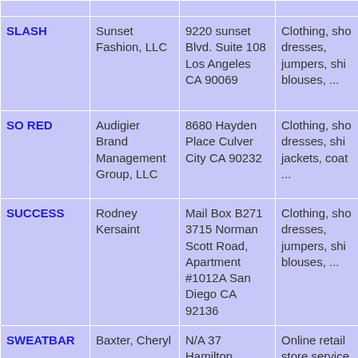| Trademark | Owner | Address | Goods/Services |
| --- | --- | --- | --- |
| SLASH | Sunset Fashion, LLC | 9220 sunset Blvd. Suite 108 Los Angeles CA 90069 | Clothing, sho dresses, jumpers, shi blouses, ... |
| SO RED | Audigier Brand Management Group, LLC | 8680 Hayden Place Culver City CA 90232 | Clothing, sho dresses, shi jackets, coat ... |
| SUCCESS | Rodney Kersaint | Mail Box B271 3715 Norman Scott Road, Apartment #1012A San Diego CA 92136 | Clothing, sho dresses, jumpers, shi blouses, ... |
| SWEATBAR | Baxter, Cheryl | N/A 37 Hamilton Avenue | Online retail store service featuring ac |